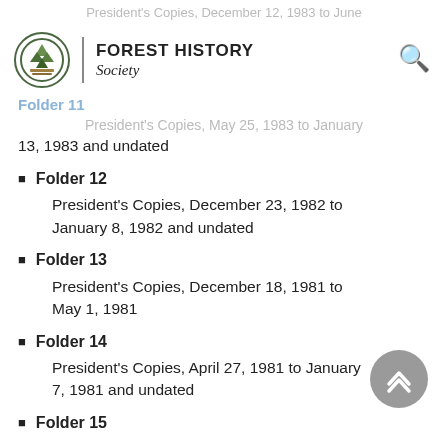President's Copies, December 12, 1983 to June
FOREST HISTORY Society
Folder 11
President's Copies, May 25, 1983 to January 13, 1983 and undated
Folder 12 — President's Copies, December 23, 1982 to January 8, 1982 and undated
Folder 13 — President's Copies, December 18, 1981 to May 1, 1981
Folder 14 — President's Copies, April 27, 1981 to January 7, 1981 and undated
Folder 15